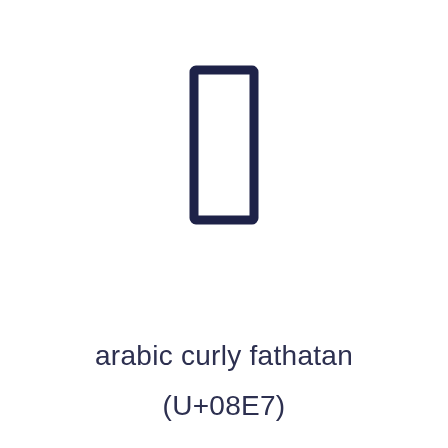[Figure (illustration): A tall narrow rectangle outline drawn with dark navy/dark blue thick stroke on white background, representing the Arabic curly fathatan Unicode character U+08E7]
arabic curly fathatan
(U+08E7)
[Figure (illustration): A blue/indigo heart icon]